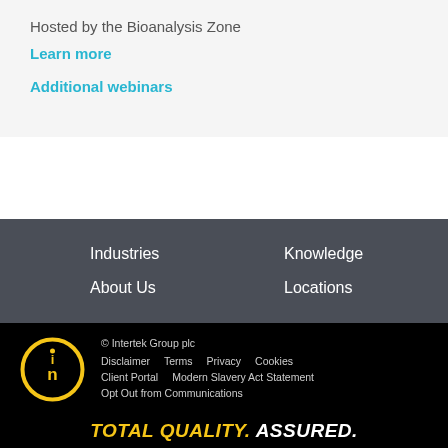Hosted by the Bioanalysis Zone
Learn more
Additional webinars
Industries
Knowledge
About Us
Locations
[Figure (logo): Intertek circular 'in' logo in yellow on black background]
© Intertek Group plc
Disclaimer   Terms   Privacy   Cookies
Client Portal   Modern Slavery Act Statement
Opt Out from Communications
TOTAL QUALITY. ASSURED.